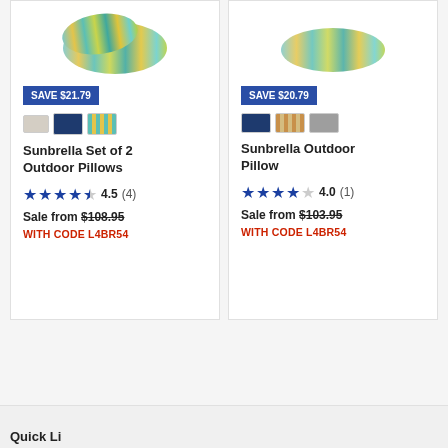[Figure (photo): Striped colorful outdoor pillow product image, left card]
SAVE $21.79
[Figure (photo): Three color swatches for product: beige, navy, striped teal/green]
Sunbrella Set of 2 Outdoor Pillows
4.5 (4)
Sale from $108.95
WITH CODE L4BR54
[Figure (photo): Striped colorful outdoor pillow product image, right card]
SAVE $20.79
[Figure (photo): Three color swatches: navy, striped orange/tan, gray]
Sunbrella Outdoor Pillow
4.0 (1)
Sale from $103.95
WITH CODE L4BR54
See More
Quick Li…